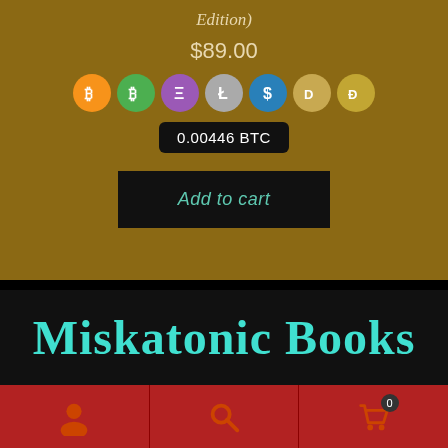Edition)
$89.00
[Figure (screenshot): Row of cryptocurrency payment icons: Bitcoin (orange), Bitcoin (green), Ethereum (purple), Litecoin (silver), USD Coin (blue), Dash (gold), Dogecoin (gold)]
0.00446 BTC
Add to cart
Miskatonic Books
[Figure (screenshot): Mobile navigation bar with three icons: user/person icon, search/magnifying glass icon, and shopping cart icon with badge showing 0]